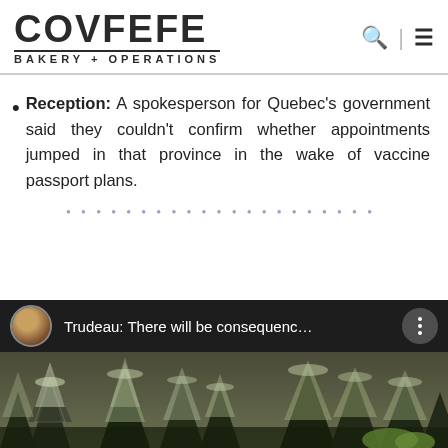COVFEFE BAKERY + OPERATIONS
Reception: A spokesperson for Quebec's government said they couldn't confirm whether appointments jumped in that province in the wake of vaccine passport plans.
[Figure (screenshot): Video thumbnail showing 'Trudeau: There will be consequenc...' with a circular avatar image and a three-dot menu button, below which is a snowy winter forest scene]